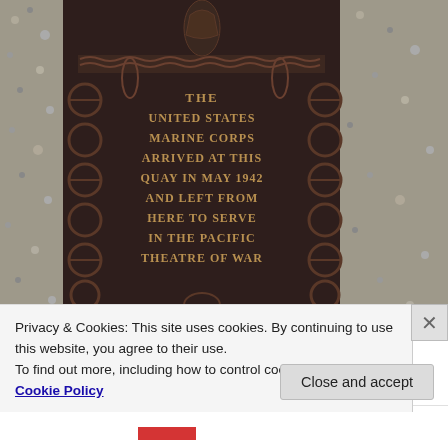[Figure (photo): A dark bronze memorial plaque mounted on a stone/gravel wall. The plaque reads: 'THE UNITED STATES MARINE CORPS ARRIVED AT THIS QUAY IN MAY 1942 AND LEFT FROM HERE TO SERVE IN THE PACIFIC THEATRE OF WAR'. The plaque has decorative circular elements along the sides and a figure carved at the top. The surrounding wall is rough stone/gravel texture.]
Privacy & Cookies: This site uses cookies. By continuing to use this website, you agree to their use.
To find out more, including how to control cookies, see here: Cookie Policy
Close and accept